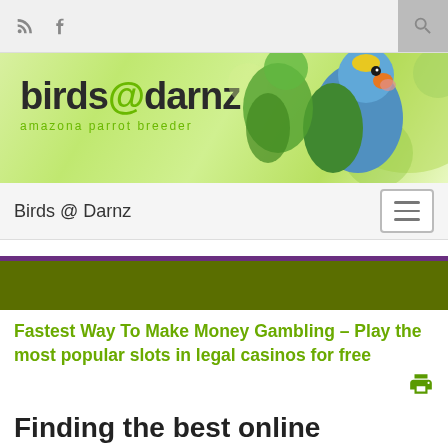RSS | Facebook | Search
[Figure (illustration): Birds @ Darnz website banner with logo text 'birds@darnz amazona parrot breeder' and a photo of colorful Amazon parrots on a green bokeh background]
Birds @ Darnz
[Figure (other): Purple and olive green colored decorative banner bar]
Fastest Way To Make Money Gambling – Play the most popular slots in legal casinos for free
Finding the best online gambling websites